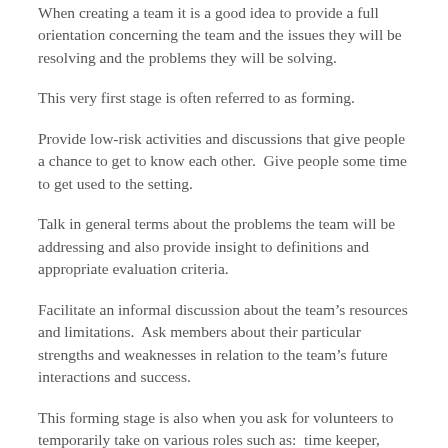When creating a team it is a good idea to provide a full orientation concerning the team and the issues they will be resolving and the problems they will be solving.
This very first stage is often referred to as forming.
Provide low-risk activities and discussions that give people a chance to get to know each other.  Give people some time to get used to the setting.
Talk in general terms about the problems the team will be addressing and also provide insight to definitions and appropriate evaluation criteria.
Facilitate an informal discussion about the team's resources and limitations.  Ask members about their particular strengths and weaknesses in relation to the team's future interactions and success.
This forming stage is also when you ask for volunteers to temporarily take on various roles such as:  time keeper, scribe, creative thinker, critical thinker, flip chart recorder, minutes taker, or facilitator.